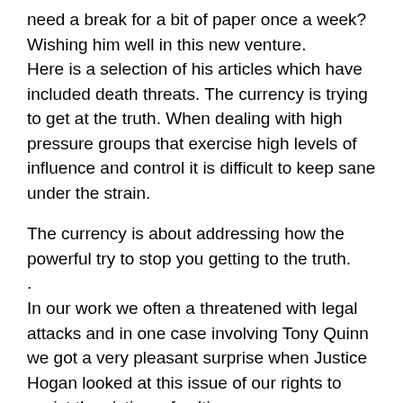need a break for a bit of paper once a week? Wishing him well in this new venture. Here is a selection of his articles which have included death threats. The currency is trying to get at the truth. When dealing with high pressure groups that exercise high levels of influence and control it is difficult to keep sane under the strain.
The currency is about addressing how the powerful try to stop you getting to the truth.
.
In our work we often a threatened with legal attacks and in one case involving Tony Quinn we got a very pleasant surprise when Justice Hogan looked at this issue of our rights to assist the victims of cultism.
https://dialogueireland.wordpress.com/2012/09/21/final-